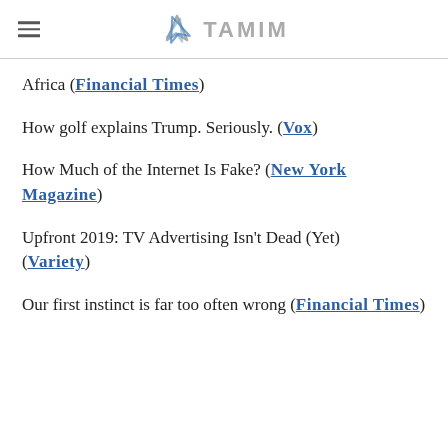TAMIM
Africa (Financial Times)
How golf explains Trump. Seriously. (Vox)
How Much of the Internet Is Fake? (New York Magazine)
Upfront 2019: TV Advertising Isn't Dead (Yet) (Variety)
Our first instinct is far too often wrong (Financial Times)